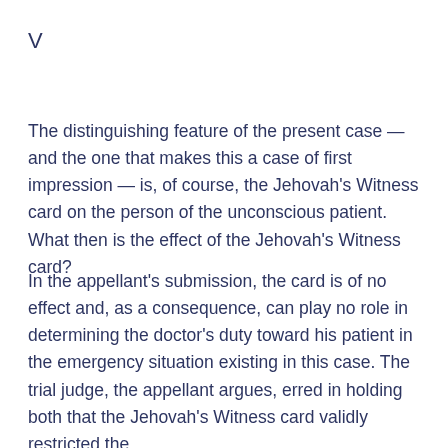V
The distinguishing feature of the present case — and the one that makes this a case of first impression — is, of course, the Jehovah's Witness card on the person of the unconscious patient. What then is the effect of the Jehovah's Witness card?
In the appellant's submission, the card is of no effect and, as a consequence, can play no role in determining the doctor's duty toward his patient in the emergency situation existing in this case. The trial judge, the appellant argues, erred in holding both that the Jehovah's Witness card validly restricted the